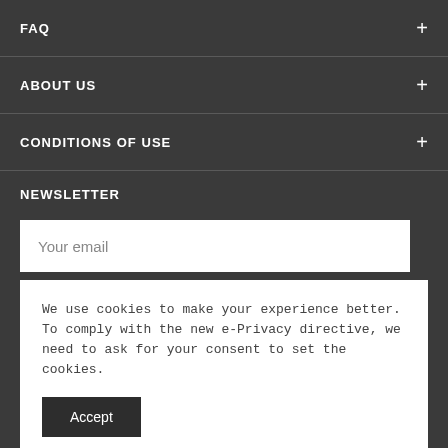FAQ
ABOUT US
CONDITIONS OF USE
NEWSLETTER
Your email
Subscribe
We use cookies to make your experience better. To comply with the new e-Privacy directive, we need to ask for your consent to set the cookies.
Accept